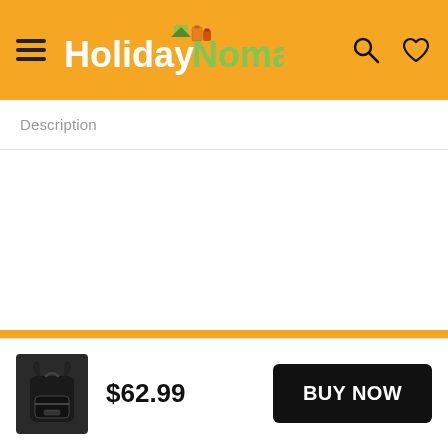HolidayNomad
Description
$62.99
BUY NOW